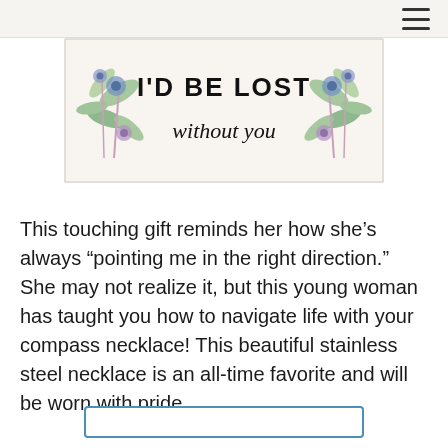[Figure (photo): A floral-bordered decorative card with text 'I'D BE LOST without you' in script lettering, with watercolor flowers and leaves on the sides.]
This touching gift reminds her how she’s always “pointing me in the right direction.” She may not realize it, but this young woman has taught you how to navigate life with your compass necklace! This beautiful stainless steel necklace is an all-time favorite and will be worn with pride.